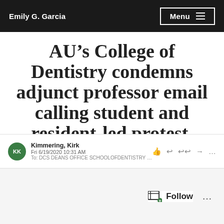Emily G. Garcia | Menu
AU’s College of Dentistry condemns adjunct professor email calling student and resident-led protest, ‘disgraceful’
Kimmering, Kirk
Fri 6/19/2020 10:31 AM
To: DDS DEANS OFFICE SCHOOLOFDENTISTRY G + others
Follow